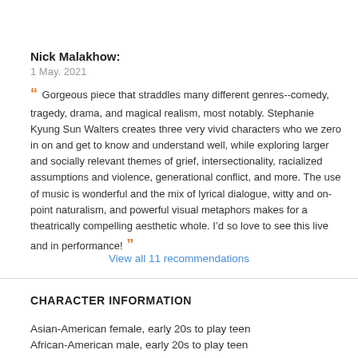Nick Malakhow:
1 May. 2021
“ Gorgeous piece that straddles many different genres--comedy, tragedy, drama, and magical realism, most notably. Stephanie Kyung Sun Walters creates three very vivid characters who we zero in on and get to know and understand well, while exploring larger and socially relevant themes of grief, intersectionality, racialized assumptions and violence, generational conflict, and more. The use of music is wonderful and the mix of lyrical dialogue, witty and on-point naturalism, and powerful visual metaphors makes for a theatrically compelling aesthetic whole. I’d so love to see this live and in performance! ”
View all 11 recommendations
CHARACTER INFORMATION
Asian-American female, early 20s to play teen
African-American male, early 20s to play teen